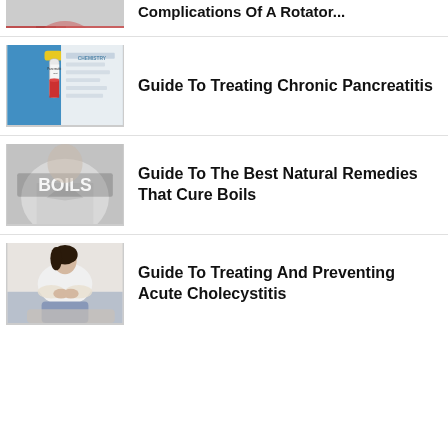[Figure (photo): Partial view of medical/rotator cuff related image, cropped at top]
Complications Of A Rotator...
[Figure (photo): Blood test tube labeled Pancreatitis - Test with blue gloved hand]
Guide To Treating Chronic Pancreatitis
[Figure (photo): Grey-toned image with BOILS text overlay showing medical professional]
Guide To The Best Natural Remedies That Cure Boils
[Figure (photo): Woman sitting and holding abdomen area, light clothing]
Guide To Treating And Preventing Acute Cholecystitis